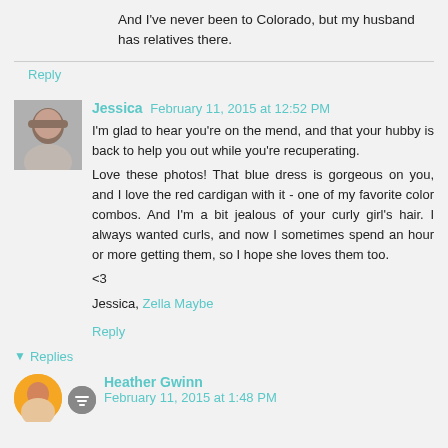And I've never been to Colorado, but my husband has relatives there.
Reply
Jessica  February 11, 2015 at 12:52 PM
I'm glad to hear you're on the mend, and that your hubby is back to help you out while you're recuperating.
Love these photos! That blue dress is gorgeous on you, and I love the red cardigan with it - one of my favorite color combos. And I'm a bit jealous of your curly girl's hair. I always wanted curls, and now I sometimes spend an hour or more getting them, so I hope she loves them too.
<3
Jessica, Zella Maybe
Reply
▼ Replies
Heather Gwinn   February 11, 2015 at 1:48 PM